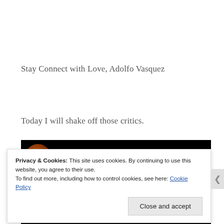Stay Connect with Love, Adolfo Vasquez
Today I will shake off those critics.
[Figure (photo): Dark background banner image with a circular profile photo on the left and partial overlaid text, followed by a bottom strip.]
Privacy & Cookies: This site uses cookies. By continuing to use this website, you agree to their use.
To find out more, including how to control cookies, see here: Cookie Policy
Close and accept